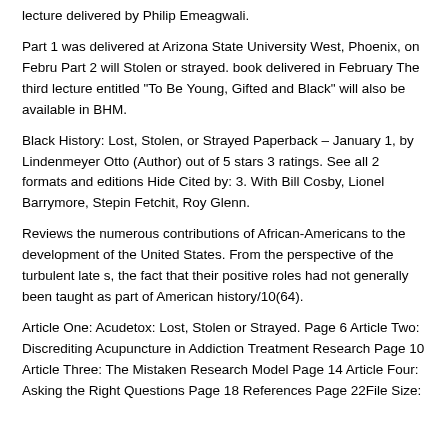lecture delivered by Philip Emeagwali.
Part 1 was delivered at Arizona State University West, Phoenix, on Febru Part 2 will Stolen or strayed. book delivered in February The third lecture entitled "To Be Young, Gifted and Black" will also be available in BHM.
Black History: Lost, Stolen, or Strayed Paperback – January 1, by Lindenmeyer Otto (Author) out of 5 stars 3 ratings. See all 2 formats and editions Hide Cited by: 3. With Bill Cosby, Lionel Barrymore, Stepin Fetchit, Roy Glenn.
Reviews the numerous contributions of African-Americans to the development of the United States. From the perspective of the turbulent late s, the fact that their positive roles had not generally been taught as part of American history/10(64).
Article One: Acudetox: Lost, Stolen or Strayed. Page 6 Article Two: Discrediting Acupuncture in Addiction Treatment Research Page 10 Article Three: The Mistaken Research Model Page 14 Article Four: Asking the Right Questions Page 18 References Page 22File Size: